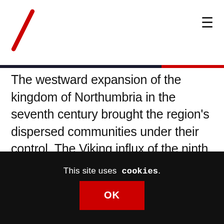[Logo / Navigation header with hamburger menu]
The westward expansion of the kingdom of Northumbria in the seventh century brought the region's dispersed communities under their control. The Viking influx of the ninth century disrupted Northumbrian power and no central authority exercised power in the region again until the twelfth century, when David I, King of Scots, confirmed a grant of Annandale to Robert Bruce in 1124.
However, it was not until 1400 that the Scottish...
This site uses cookies.
OK